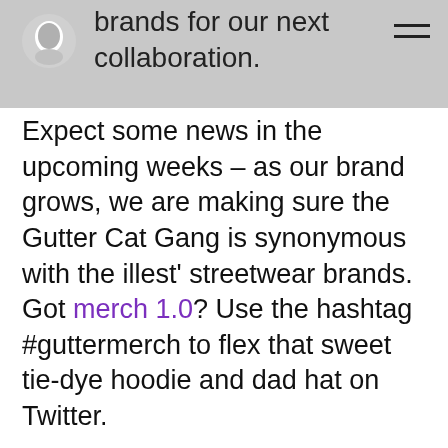brands for our next collaboration. Expect some news in the upcoming weeks – as our brand grows, we are making sure the Gutter Cat Gang is synonymous with the illest' streetwear brands. Got merch 1.0? Use the hashtag #guttermerch to flex that sweet tie-dye hoodie and dad hat on Twitter.
Rarity Tools
We're live on Rarity Tools! Check the rarity of your Gutter Pigeon & Dog NFTs – some are rare, some are dope. Most are Both. Keep in mind, the rarity will change as more mint passes are